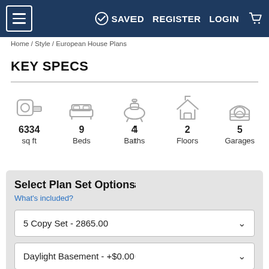SAVED  REGISTER  LOGIN
Home / Style / European House Plans
KEY SPECS
[Figure (infographic): Key specs icons row: tape measure icon (6334 sq ft), bed icon (9 Beds), toilet icon (4 Baths), house/floors icon (2 Floors), garage icon (5 Garages)]
Select Plan Set Options
What's included?
5 Copy Set - 2865.00
Daylight Basement - +$0.00